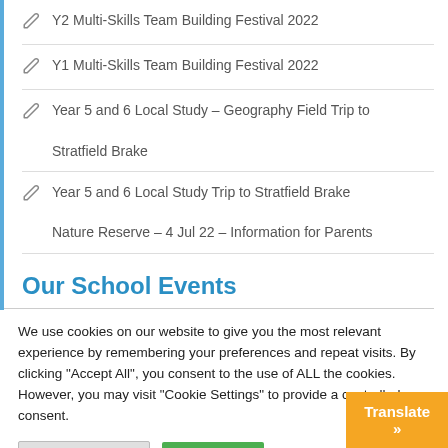Y2 Multi-Skills Team Building Festival 2022
Y1 Multi-Skills Team Building Festival 2022
Year 5 and 6 Local Study – Geography Field Trip to Stratfield Brake
Year 5 and 6 Local Study Trip to Stratfield Brake Nature Reserve – 4 Jul 22 – Information for Parents
Our School Events
We use cookies on our website to give you the most relevant experience by remembering your preferences and repeat visits. By clicking "Accept All", you consent to the use of ALL the cookies. However, you may visit "Cookie Settings" to provide a controlled consent.
Cookie Settings | Accept All
Translate »